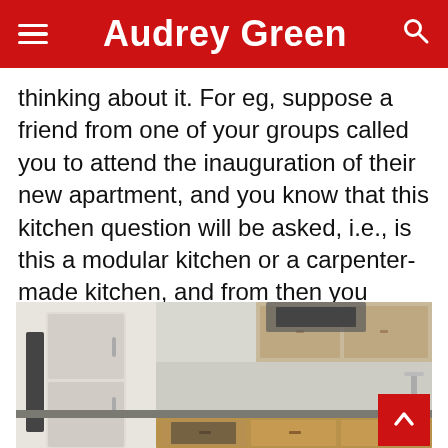Audrey Green
thinking about it. For eg, suppose a friend from one of your groups called you to attend the inauguration of their new apartment, and you know that this kitchen question will be asked, i.e., is this a modular kitchen or a carpenter-made kitchen, and from then you decide to think to renovate your home as well.
[Figure (photo): Interior photo of a modern kitchen showing a refrigerator on the left, upper cabinets, a countertop with cooking utensils, bottles, and a cutting board, with wooden lower cabinets and an oven visible.]